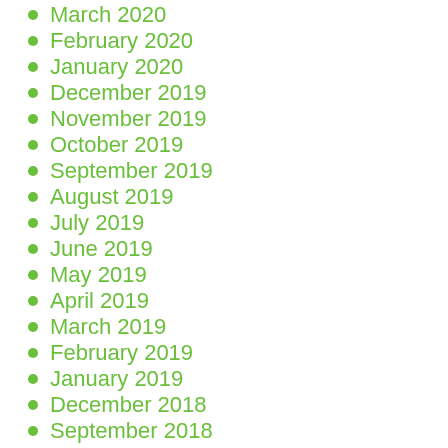March 2020
February 2020
January 2020
December 2019
November 2019
October 2019
September 2019
August 2019
July 2019
June 2019
May 2019
April 2019
March 2019
February 2019
January 2019
December 2018
September 2018